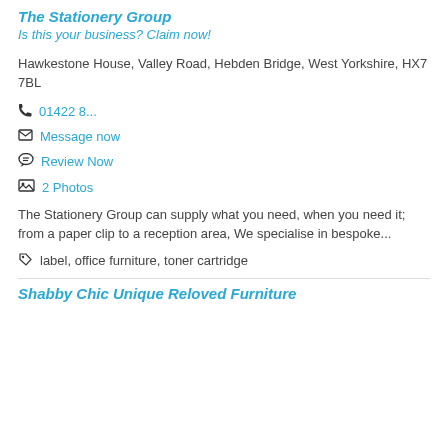The Stationery Group
Is this your business? Claim now!
Hawkestone House, Valley Road, Hebden Bridge, West Yorkshire, HX7 7BL
01422 8...
Message now
Review Now
2 Photos
The Stationery Group can supply what you need, when you need it; from a paper clip to a reception area, We specialise in bespoke...
label, office furniture, toner cartridge
Shabby Chic Unique Reloved Furniture